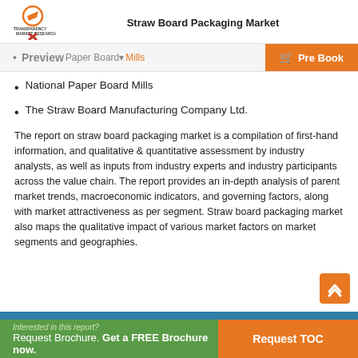Straw Board Packaging Market
National Paper Board Mills
The Straw Board Manufacturing Company Ltd.
The report on straw board packaging market is a compilation of first-hand information, and qualitative & quantitative assessment by industry analysts, as well as inputs from industry experts and industry participants across the value chain. The report provides an in-depth analysis of parent market trends, macroeconomic indicators, and governing factors, along with market attractiveness as per segment. Straw board packaging market also maps the qualitative impact of various market factors on market segments and geographies.
Interested in this report? Request Brochure. Get a FREE Brochure now. Request TOC